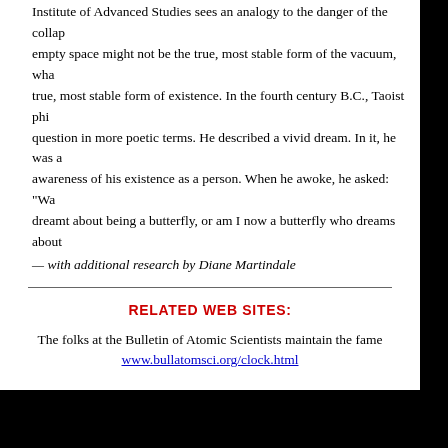Institute of Advanced Studies sees an analogy to the danger of the collapse of the vacuum: empty space might not be the true, most stable form of the vacuum, whatever that true, most stable form of existence. In the fourth century B.C., Taoist philosopher Zhuangzi put the question in more poetic terms. He described a vivid dream. In it, he was a butterfly, unaware of his existence as a person. When he awoke, he asked: "Was I a person who dreamt about being a butterfly, or am I now a butterfly who dreams about being a person?"
— with additional research by Diane Martindale
RELATED WEB SITES:
The folks at the Bulletin of Atomic Scientists maintain the famous Doomsday Clock at www.bullatomsci.org/clock.html
Back to Extinct.net